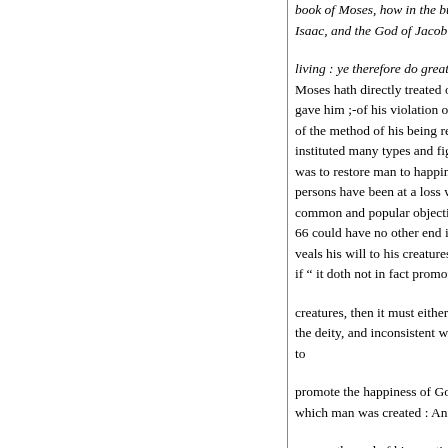book of Moses, how in the bush Isaac, and the God of Jacob? H living : ye therefore do greatly e Moses hath directly treated of th gave him ;-of his violation of th of the method of his being resto instituted many types and figure was to restore man to happiness persons have been at a loss whe common and popular objection 66 could have no other end in th veals his will to his creatures, th if " it doth not in fact promote t creatures, then it must either be the deity, and inconsistent with to promote the happiness of God's which man was created : And be answer the end of his creation, i a revelation from God; for God men ignorant of that great truth